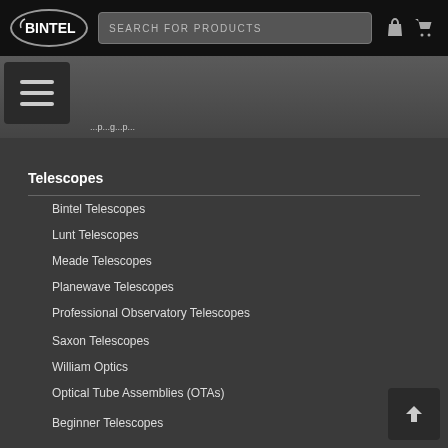[Figure (screenshot): Bintel website navigation header with logo, search bar, phone and cart icons on black background]
[Figure (screenshot): Hamburger menu button on gradient grey sub-navigation bar]
Telescopes
Bintel Telescopes
Lunt Telescopes
Meade Telescopes
Planewave Telescopes
Professional Observatory Telescopes
Saxon Telescopes
William Optics
Optical Tube Assemblies (OTAs)
Beginner Telescopes